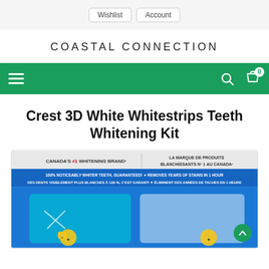Wishlist   Account
COASTAL CONNECTION
[Figure (screenshot): Green navigation bar with hamburger menu icon on left, search icon and shopping bag icon with '0' badge on right]
Crest 3D White Whitestrips Teeth Whitening Kit
[Figure (photo): Product packaging photo of Crest 3D White Whitestrips Teeth Whitening Kit, showing bilingual Canadian packaging (English and French). Text reads CANADA'S #1 WHITENING BRAND / LA MARQUE DE PRODUITS BLANCHISSANTS N° 1 AU CANADA, 100% NOTICEABLY WHITER TEETH, GUARANTEED! REMOVES YEARS OF STAINS IN 1 HOUR / DES DENTS VISIBLEMENT PLUS BLANCHES À 100%, C'EST GARANTI ÉLIMINENT DES ANNÉES DE TACHES EN 1 HEURE. Blue packaging with product strips visible.]